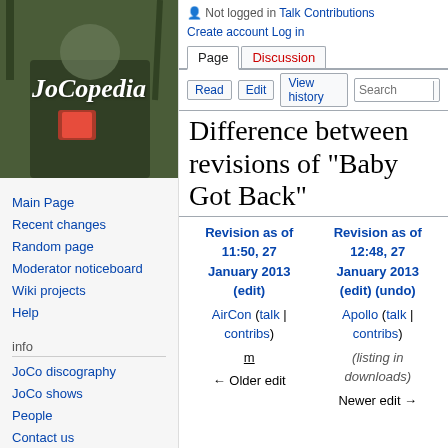[Figure (photo): JoCopedia wiki logo with cursive white text over a photo of a person holding a book/magazine outdoors]
Main Page
Recent changes
Random page
Moderator noticeboard
Wiki projects
Help
info
JoCo discography
JoCo shows
People
Contact us
external links
Not logged in  Talk  Contributions  Create account  Log in
Page  Discussion
Read  Edit  View history  Search
Difference between revisions of "Baby Got Back"
| Revision as of 11:50, 27 January 2013 (edit) | Revision as of 12:48, 27 January 2013 (edit) (undo) |
| --- | --- |
| AirCon (talk | contribs) | Apollo (talk | contribs) |
| m | (listing in downloads) |
| ← Older edit | Newer edit → |